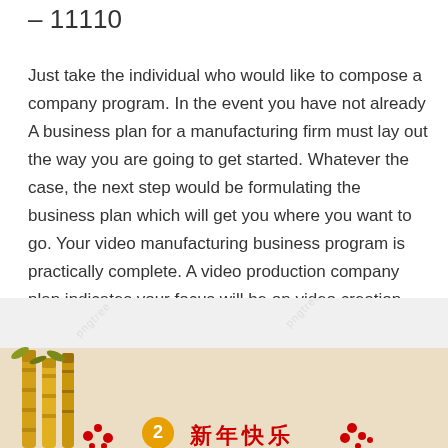– 11110
Just take the individual who would like to compose a company program. In the event you have not already A business plan for a manufacturing firm must lay out the way you are going to get started. Whatever the case, the next step would be formulating the business plan which will get you where you want to go. Your video manufacturing business program is practically complete. A video production company plan indicates your focus will be on video creation.
[Figure (illustration): Decorative image with a light grey background with 'pngtree' watermarks, and a lower section showing golden bamboo stalks on a warm beige background with red floral decorations and Chinese characters reading '新年快乐' (Happy New Year) with a small circular orange emblem.]